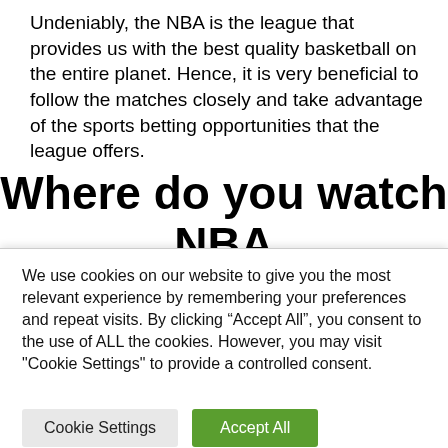Undeniably, the NBA is the league that provides us with the best quality basketball on the entire planet. Hence, it is very beneficial to follow the matches closely and take advantage of the sports betting opportunities that the league offers.
Where do you watch NBA 2022 matches?
We use cookies on our website to give you the most relevant experience by remembering your preferences and repeat visits. By clicking “Accept All”, you consent to the use of ALL the cookies. However, you may visit "Cookie Settings" to provide a controlled consent.